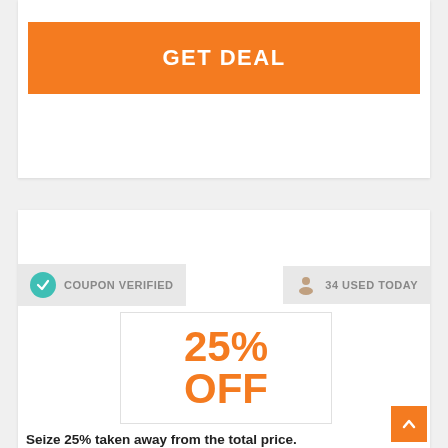GET DEAL
COUPON VERIFIED
34 USED TODAY
25% OFF
Seize 25% taken away from the total price.
Savings up to 25% when ordering from Howler